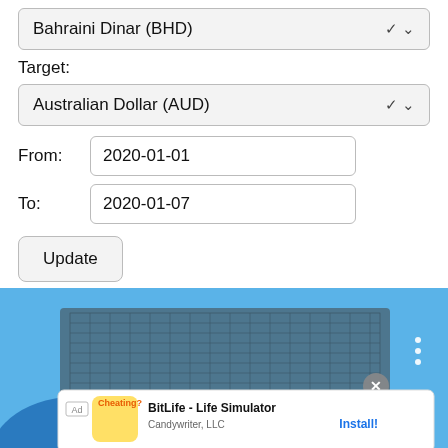Bahraini Dinar (BHD)
Target:
Australian Dollar (AUD)
From:  2020-01-01
To:  2020-01-07
Update
[Figure (screenshot): Advertisement banner showing BitLife - Life Simulator app ad by Candywriter LLC with an Install button, overlaid on a photo of a textured landscape with blue sky. A close button (x) and three-dot menu are visible.]